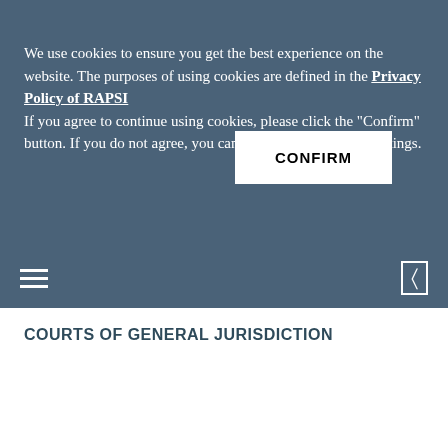We use cookies to ensure you get the best experience on the website. The purposes of using cookies are defined in the Privacy Policy of RAPSI If you agree to continue using cookies, please click the "Confirm" button. If you do not agree, you can change your browser settings.
CONFIRM
COURTS OF GENERAL JURISDICTION